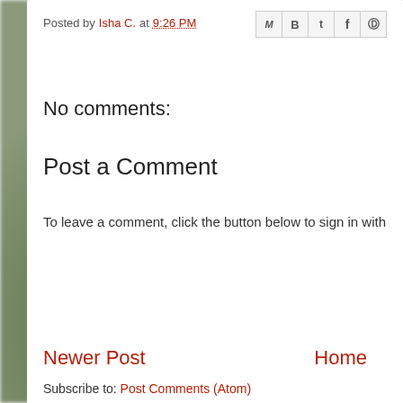Posted by Isha C. at 9:26 PM
[Figure (other): Social share icons: Gmail (M), Blogger (B), Twitter (t), Facebook (f), Pinterest (p)]
No comments:
Post a Comment
To leave a comment, click the button below to sign in with
[Figure (other): Blue button labeled SIGN IN WITH GOOGLE]
Newer Post
Home
Subscribe to: Post Comments (Atom)